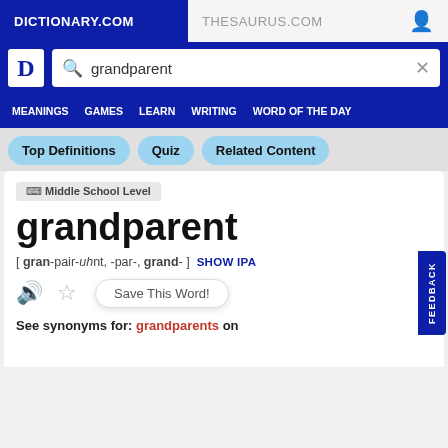DICTIONARY.COM
THESAURUS.COM
grandparent (search query)
MEANINGS   GAMES   LEARN   WRITING   WORD OF THE DAY
Top Definitions
Quiz
Related Content
⬛ Middle School Level
grandparent
[ gran-pair-uhnt, -par-, grand- ]  SHOW IPA
See synonyms for: grandparents on
FEEDBACK